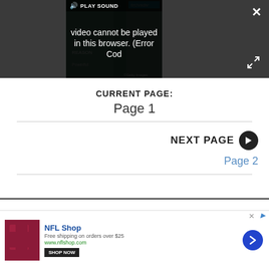[Figure (screenshot): Video player showing error message: 'Video cannot be played in this browser. (Error Cod' with PLAY SOUND button and close/expand controls on dark background.]
CURRENT PAGE:
Page 1
NEXT PAGE
Page 2
[Figure (screenshot): NFL Shop advertisement: Free shipping on orders over $25, www.nflshop.com, SHOP NOW button.]